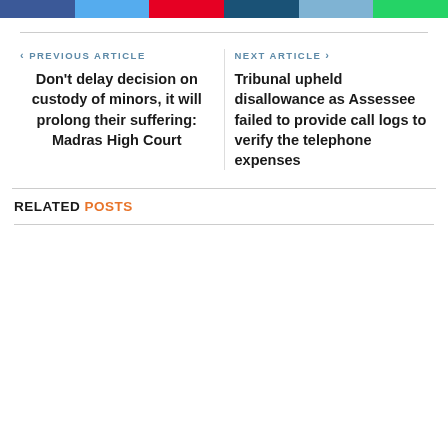[Figure (other): Social media share buttons bar: Facebook (blue), Twitter (light blue), Pinterest (red), LinkedIn (dark blue), another social (medium blue), WhatsApp (green)]
PREVIOUS ARTICLE
Don't delay decision on custody of minors, it will prolong their suffering: Madras High Court
NEXT ARTICLE
Tribunal upheld disallowance as Assessee failed to provide call logs to verify the telephone expenses
RELATED POSTS